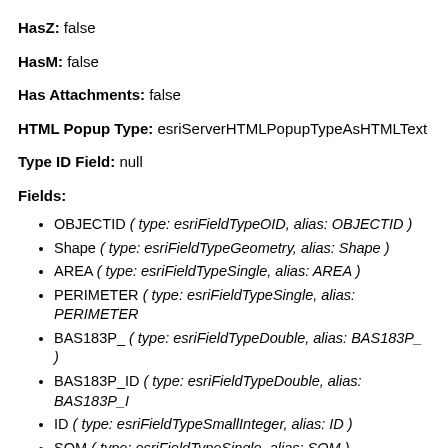HasZ: false
HasM: false
Has Attachments: false
HTML Popup Type: esriServerHTMLPopupTypeAsHTMLText
Type ID Field: null
Fields:
OBJECTID ( type: esriFieldTypeOID, alias: OBJECTID )
Shape ( type: esriFieldTypeGeometry, alias: Shape )
AREA ( type: esriFieldTypeSingle, alias: AREA )
PERIMETER ( type: esriFieldTypeSingle, alias: PERIMETER )
BAS183P_ ( type: esriFieldTypeDouble, alias: BAS183P_ )
BAS183P_ID ( type: esriFieldTypeDouble, alias: BAS183P_ID )
ID ( type: esriFieldTypeSmallInteger, alias: ID )
SQM ( type: esriFieldTypeSingle, alias: SQM )
PT183_ ( type: esriFieldTypeDouble, alias: PT183_ )
PT183_ID ( type: esriFieldTypeDouble, alias: PT183_ID )
COM_ID ( type: esriFieldTypeDouble, alias: COM_ID )
RCH_CODE ( type: esriFieldTypeString, alias: RCH_CODE,